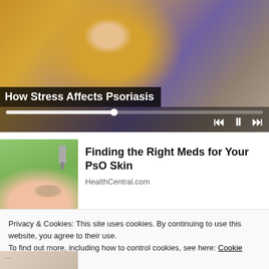[Figure (screenshot): Video player showing a person in a yellow sweater sitting on a couch, with playback controls and progress bar. Title overlay reads 'How Stress Affects Psoriasis'.]
How Stress Affects Psoriasis
[Figure (photo): Photo of a hand receiving drops from a small bottle, with a green blurred background, related to psoriasis medication.]
Finding the Right Meds for Your PsO Skin
HealthCentral.com
Privacy & Cookies: This site uses cookies. By continuing to use this website, you agree to their use.
To find out more, including how to control cookies, see here: Cookie Policy
Close and accept